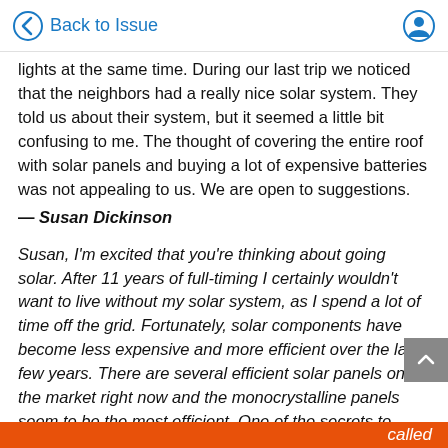Back to Issue
lights at the same time. During our last trip we noticed that the neighbors had a really nice solar system. They told us about their system, but it seemed a little bit confusing to me. The thought of covering the entire roof with solar panels and buying a lot of expensive batteries was not appealing to us. We are open to suggestions.
— Susan Dickinson
Susan, I'm excited that you're thinking about going solar. After 11 years of full-timing I certainly wouldn't want to live without my solar system, as I spend a lot of time off the grid. Fortunately, solar components have become less expensive and more efficient over the last few years. There are several efficient solar panels on the market right now and the monocrystalline panels seem to be the most efficient. One of the secrets to success is to use a quality charge controller that will actually boost
called